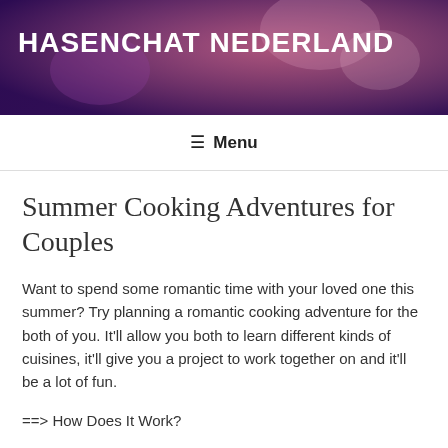[Figure (photo): Header banner photo of people celebrating at a party with purple and pink tones, overlaid with the site title text]
HASENCHAT NEDERLAND
≡ Menu
Summer Cooking Adventures for Couples
Want to spend some romantic time with your loved one this summer? Try planning a romantic cooking adventure for the both of you. It'll allow you both to learn different kinds of cuisines, it'll give you a project to work together on and it'll be a lot of fun.
==> How Does It Work?
Pick a couple days a week to do it. For example, say you